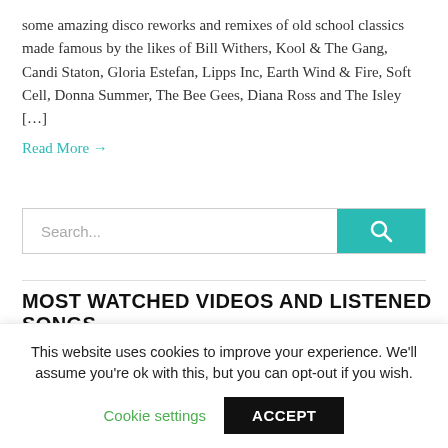some amazing disco reworks and remixes of old school classics made famous by the likes of Bill Withers, Kool & The Gang, Candi Staton, Gloria Estefan, Lipps Inc, Earth Wind & Fire, Soft Cell, Donna Summer, The Bee Gees, Diana Ross and The Isley […]
Read More →
[Figure (other): Search bar with text input placeholder 'Search...' and teal search button with magnifying glass icon]
MOST WATCHED VIDEOS AND LISTENED SONGS
•
This website uses cookies to improve your experience. We'll assume you're ok with this, but you can opt-out if you wish.
Cookie settings   ACCEPT